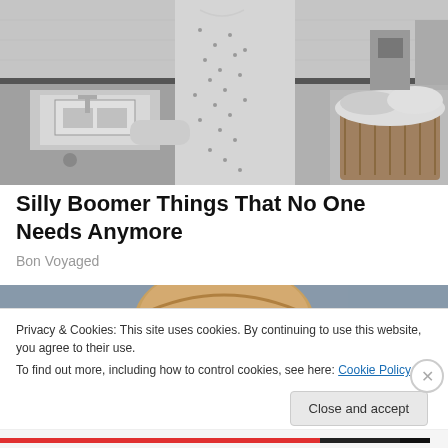[Figure (photo): Black and white vintage photograph of a woman in a floral apron and dress standing in a kitchen near a sink and counter with a laundry basket]
Silly Boomer Things That No One Needs Anymore
Bon Voyaged
[Figure (photo): Partial photo showing what appears to be a baked pie or pastry, mostly obscured by the cookie consent banner]
Privacy & Cookies: This site uses cookies. By continuing to use this website, you agree to their use.
To find out more, including how to control cookies, see here: Cookie Policy